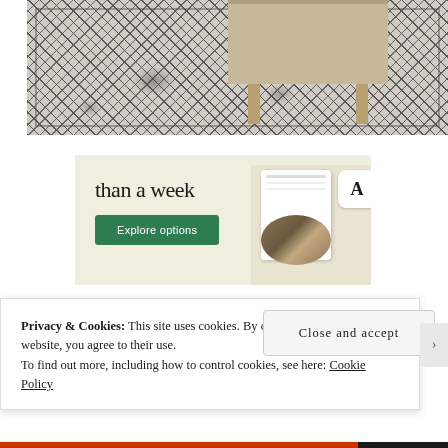[Figure (photo): Decorative patterned rug with black and white/grey medallion design under a light wooden coffee table]
[Figure (screenshot): Advertisement banner with cream background showing text 'than a week', a green 'Explore options' button, and a mockup of a website/app interface showing food images and an 'A' logo card]
Privacy & Cookies: This site uses cookies. By continuing to use this website, you agree to their use.
To find out more, including how to control cookies, see here: Cookie Policy
Close and accept